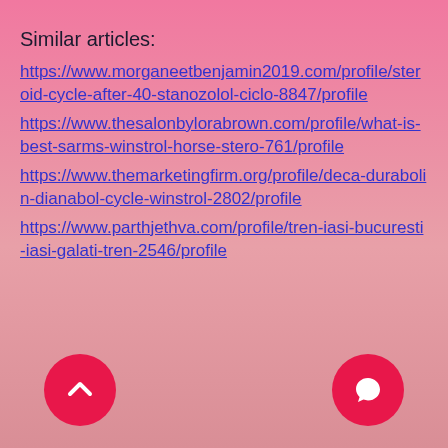Similar articles:
https://www.morganeetbenjamin2019.com/profile/steroid-cycle-after-40-stanozolol-ciclo-8847/profile
https://www.thesalonbylorabrown.com/profile/what-is-best-sarms-winstrol-horse-stero-761/profile
https://www.themarketingfirm.org/profile/deca-durabolin-dianabol-cycle-winstrol-2802/profile
https://www.parthjethva.com/profile/tren-iasi-bucuresti-iasi-galati-tren-2546/profile
[Figure (other): Scroll-to-top button (red circle with upward chevron icon) and chat button (red circle with speech bubble icon) at the bottom of the page]